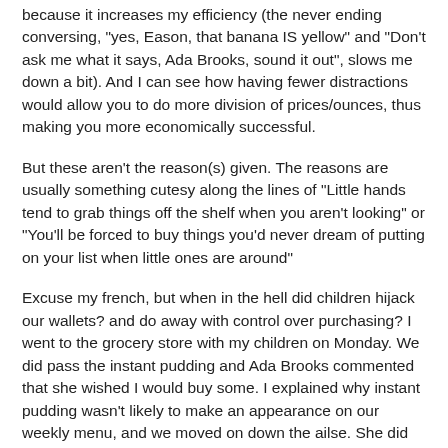because it increases my efficiency (the never ending conversing, "yes, Eason, that banana IS yellow" and "Don't ask me what it says, Ada Brooks, sound it out", slows me down a bit). And I can see how having fewer distractions would allow you to do more division of prices/ounces, thus making you more economically successful.
But these aren't the reason(s) given. The reasons are usually something cutesy along the lines of "Little hands tend to grab things off the shelf when you aren't looking" or "You'll be forced to buy things you'd never dream of putting on your list when little ones are around"
Excuse my french, but when in the hell did children hijack our wallets? and do away with control over purchasing? I went to the grocery store with my children on Monday. We did pass the instant pudding and Ada Brooks commented that she wished I would buy some. I explained why instant pudding wasn't likely to make an appearance on our weekly menu, and we moved on down the ailse. She did ask if I would make some homemade pudding sometime soon, and I acquiesced to making it once before the baby comes (she's